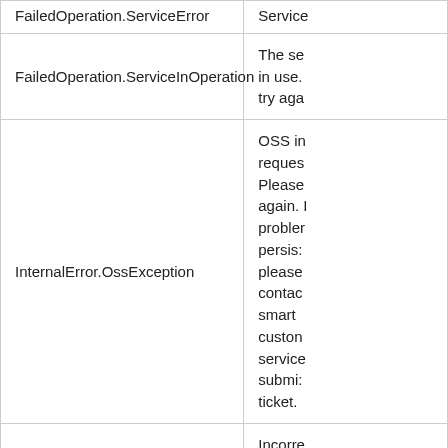| Error Code | Description |
| --- | --- |
| FailedOperation.ServiceError | Service... |
| FailedOperation.ServiceInOperation | The se... in use. try aga... |
| InternalError.OssException | OSS in... reques... Please... again. problem persis: please contac smart custom service submi: ticket. |
| InvalidParameter.FormatError | Incorre... param... |